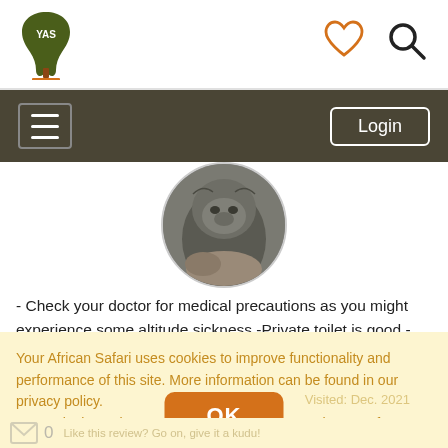[Figure (logo): YAS Africa logo - stylized Africa continent shape with tree, olive/dark green color with orange base]
[Figure (illustration): Heart/favorite icon outline in orange]
[Figure (illustration): Search/magnifying glass icon in dark color]
[Figure (illustration): Hamburger menu icon (three lines) in white on dark olive background nav bar]
Login
[Figure (photo): Circular cropped photo of a gorilla resting, gray fur, sitting among rocks/wood]
- Check your doctor for medical precautions as you might experience some altitude sickness -Private toilet is good - Please remember to tip your crew - read more
Your African Safari uses cookies to improve functionality and performance of this site. More information can be found in our privacy policy.
By continuing to browse this site, you consent to the use of cookies.
Visited: Dec. 2021
OK
0
Like this review? Go on, give it a kudu!